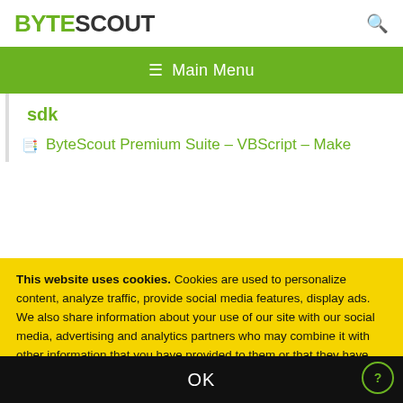BYTESCOUT
Main Menu
sdk
ByteScout Premium Suite – VBScript – Make
This website uses cookies. Cookies are used to personalize content, analyze traffic, provide social media features, display ads. We also share information about your use of our site with our social media, advertising and analytics partners who may combine it with other information that you have provided to them or that they have collected from your use of their services. Please review our Privacy Policy for more details or change cookies settings. By closing this banner or by clicking a link or continuing to browse otherwise, you consent to our cookies.
OK